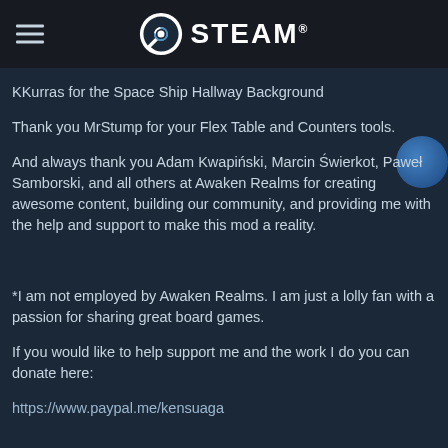STEAM
KKurras for the Space Ship Hallway Background
Thank you MrStump for your Flex Table and Counters tools.
And always thank you Adam Kwapiński, Marcin Świerkot, Paweł Samborski, and all others at Awaken Realms for creating awesome content, building our community, and providing me with the help and support to make this mod a reality.
*I am not employed by Awaken Realms. I am just a lolly fan with a passion for sharing great board games.
If you would like to help support me and the work I do you can donate here:
https://www.paypal.me/kensuaga